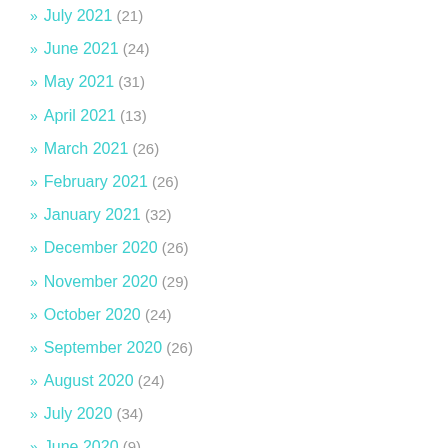» July 2021 (21)
» June 2021 (24)
» May 2021 (31)
» April 2021 (13)
» March 2021 (26)
» February 2021 (26)
» January 2021 (32)
» December 2020 (26)
» November 2020 (29)
» October 2020 (24)
» September 2020 (26)
» August 2020 (24)
» July 2020 (34)
» June 2020 (9)
» May 2020 (45)
» April 2020 (42)